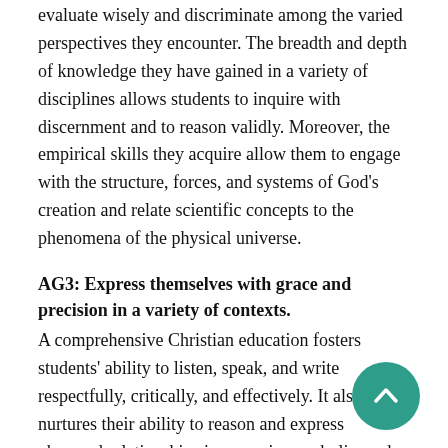evaluate wisely and discriminate among the varied perspectives they encounter. The breadth and depth of knowledge they have gained in a variety of disciplines allows students to inquire with discernment and to reason validly. Moreover, the empirical skills they acquire allow them to engage with the structure, forces, and systems of God's creation and relate scientific concepts to the phenomena of the physical universe.
AG3: Express themselves with grace and precision in a variety of contexts.
A comprehensive Christian education fosters students' ability to listen, speak, and write respectfully, critically, and effectively. It also nurtures their ability to reason and express observed relationships in numeric, symbolic, and graphic forms, while at the same time integrating appropriate technologies into their studies. In order to communicate with integrity from a global perspective,